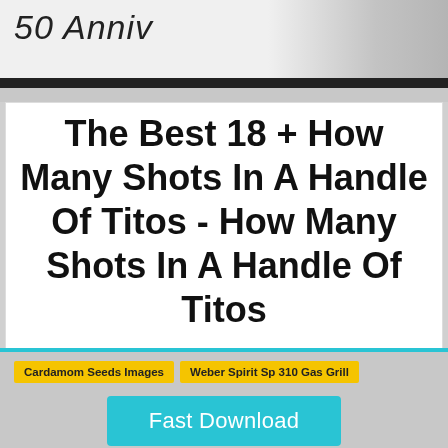50 Anniv
The Best 18 + How Many Shots In A Handle Of Titos - How Many Shots In A Handle Of Titos
Cardamom Seeds Images
Weber Spirit Sp 310 Gas Grill
Fast Download